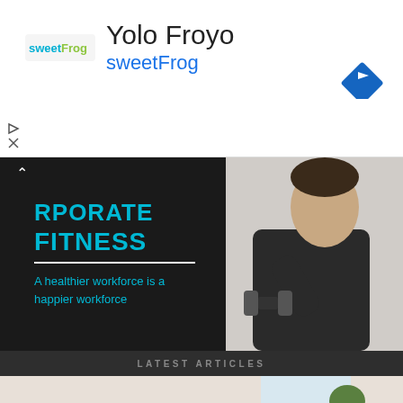[Figure (screenshot): Ad banner for Yolo Froyo / sweetFrog with navigation arrow icon]
[Figure (screenshot): Corporate Fitness banner with cyan heading text and man in suit lifting dumbbell]
LATEST ARTICLES
[Figure (photo): Two people doing plank exercise on floor with water bottle and laptop nearby]